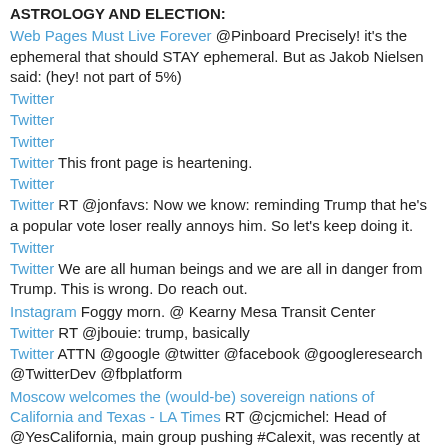ASTROLOGY AND ELECTION:
Web Pages Must Live Forever @Pinboard Precisely! it's the ephemeral that should STAY ephemeral. But as Jakob Nielsen said: (hey! not part of 5%)
Twitter
Twitter
Twitter
Twitter This front page is heartening.
Twitter
Twitter RT @jonfavs: Now we know: reminding Trump that he's a popular vote loser really annoys him. So let's keep doing it.
Twitter
Twitter We are all human beings and we are all in danger from Trump. This is wrong. Do reach out.
Instagram Foggy morn. @ Kearny Mesa Transit Center
Twitter RT @jbouie: trump, basically
Twitter ATTN @google @twitter @facebook @googleresearch @TwitterDev @fbplatform
Moscow welcomes the (would-be) sovereign nations of California and Texas - LA Times RT @cjcmichel: Head of @YesCalifornia, main group pushing #Calexit, was recently at Kremlin-funded secession conference in Moscow: